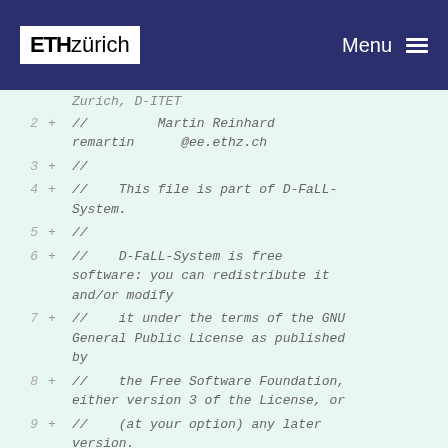ETH zürich   Menu
Code diff view showing lines 2-11 of a source file with GNU GPL license header comments for D-FaLL-System, ETH Zurich D-ITET, authored by Martin Reinhard (remartin@ee.ethz.ch)